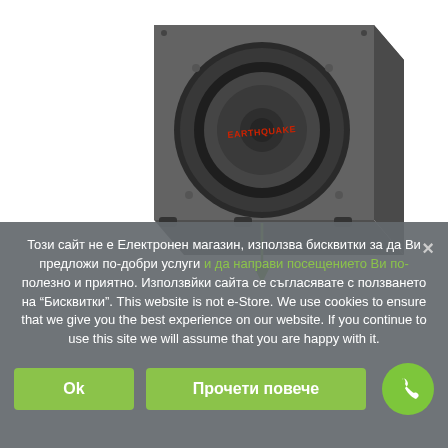[Figure (photo): 3D rendered image of a dark grey Earthquake branded subwoofer speaker box on white background, viewed from front-left angle showing the large circular driver and brand logo in red text]
Този сайт не е Електронен магазин, използва бисквитки за да Ви предложи по-добри услуги и да направи посещението Ви по-полезно и приятно. Използвйки сайта се съгласявате с ползването на "Бисквитки". This website is not e-Store. We use cookies to ensure that we give you the best experience on our website. If you continue to use this site we will assume that you are happy with it.
Ok
Прочети повече